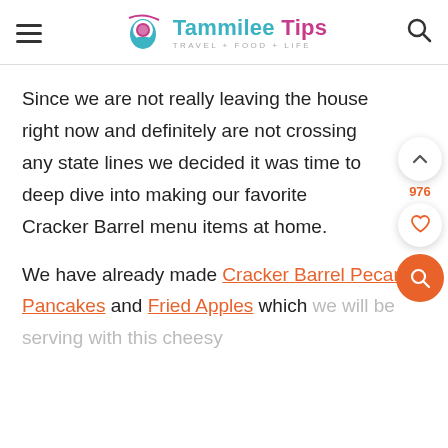Tammilee Tips — TRAVEL+FOOD+LIFE
Since we are not really leaving the house right now and definitely are not crossing any state lines we decided it was time to deep dive into making our favorite Cracker Barrel menu items at home.
We have already made Cracker Barrel Pecan Pancakes and Fried Apples which we will be serving with this cheesy